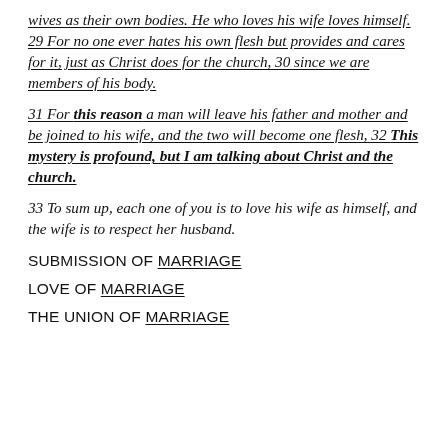wives as their own bodies. He who loves his wife loves himself. 29 For no one ever hates his own flesh but provides and cares for it, just as Christ does for the church, 30 since we are members of his body.
31 For this reason a man will leave his father and mother and be joined to his wife, and the two will become one flesh. 32 This mystery is profound, but I am talking about Christ and the church.
33 To sum up, each one of you is to love his wife as himself, and the wife is to respect her husband.
SUBMISSION OF MARRIAGE
LOVE OF MARRIAGE
THE UNION OF MARRIAGE